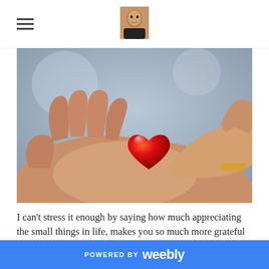[Figure (photo): Close-up photo of two open hands holding a small red glass heart-shaped object against a blurred background.]
I can't stress it enough by saying how much appreciating the small things in life, makes you so much more grateful and happier without you even knowing it. It doesn't have to be materialistic things or anything in that manner it could be things like.
POWERED BY weebly